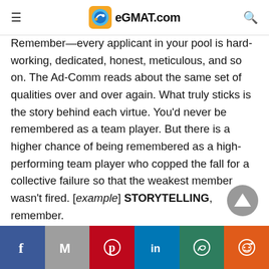eGMAT.com
Remember—every applicant in your pool is hard-working, dedicated, honest, meticulous, and so on. The Ad-Comm reads about the same set of qualities over and over again. What truly sticks is the story behind each virtue. You'd never be remembered as a team player. But there is a higher chance of being remembered as a high-performing team player who copped the fall for a collective failure so that the weakest member wasn't fired. [example] STORYTELLING, remember.
Facebook Mail Pinterest LinkedIn WhatsApp Reddit